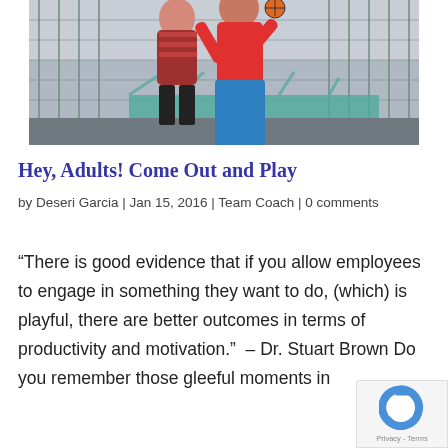[Figure (photo): Two people playing basketball outdoors near a chain-link fence, with a bridge visible in the background. One person wearing a red shirt and blue pants appears to be jumping.]
Hey, Adults! Come Out and Play
by Deseri Garcia | Jan 15, 2016 | Team Coach | 0 comments
“There is good evidence that if you allow employees to engage in something they want to do, (which) is playful, there are better outcomes in terms of productivity and motivation.”  – Dr. Stuart Brown Do you remember those gleeful moments in